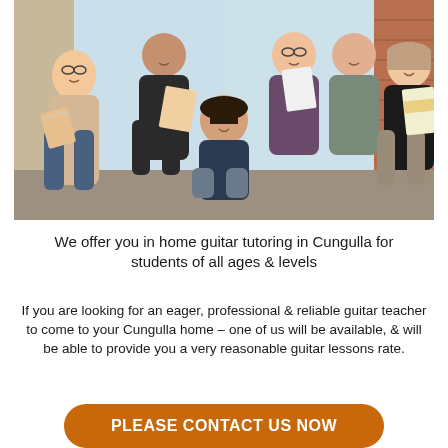[Figure (photo): Group photo of six young students/people smiling, some holding notebooks/workbooks, standing and kneeling in front of a window.]
We offer you in home guitar tutoring in Cungulla for students of all ages & levels
If you are looking for an eager, professional & reliable guitar teacher to come to your Cungulla home – one of us will be available, & will be able to provide you a very reasonable guitar lessons rate.
PLEASE CONTACT US NOW